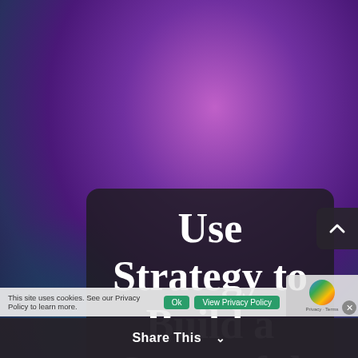[Figure (photo): Purple and magenta gradient background with dark blue-teal shadow in lower left, representing a social media marketing themed hero image]
Use Strategy to Build a Successful Social Marketing Plan
This site uses cookies. See our Privacy Policy to learn more.
Share This